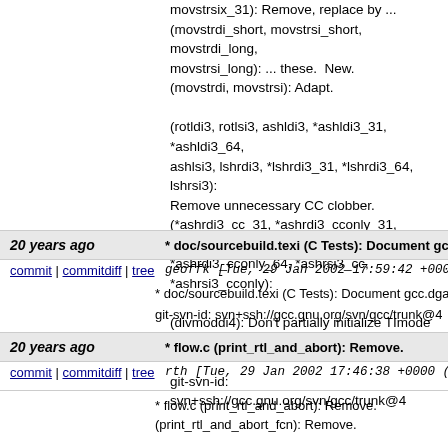movstrsix_31): Remove, replace by ... (movstrdi_short, movstrsi_short, movstrdi_long, movstrsi_long): ... these. New. (movstrdi, movstrsi): Adapt.
(rotldi3, rotlsi3, ashldi3, *ashldi3_31, *ashldi3_64, ashlsi3, lshrdi3, *lshrdi3_31, *lshrdi3_64, lshrsi3): Remove unnecessary CC clobber. (*ashrdi3_cc_31, *ashrdi3_cconly_31, *ashrdi3_cc... *ashrdi3_cconly_64, *ashrsi3_cc, *ashrsi3_cconly):
(divmoddi4): Don't partially initialize TImode registe
git-svn-id: svn+ssh://gcc.gnu.org/svn/gcc/trunk@4
20 years ago   * doc/sourcebuild.texi (C Tests): Document gcc
commit | commitdiff | tree   geoffk [Tue, 29 Jan 2002 17:59:42 +0000
* doc/sourcebuild.texi (C Tests): Document gcc.dga...
git-svn-id: svn+ssh://gcc.gnu.org/svn/gcc/trunk@4
20 years ago   * flow.c (print_rtl_and_abort): Remove.
commit | commitdiff | tree   rth [Tue, 29 Jan 2002 17:46:38 +0000 (17
* flow.c (print_rtl_and_abort): Remove. (print_rtl_and_abort_fcn): Remove.